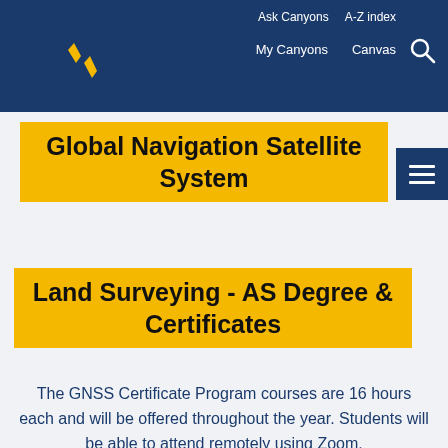Ask Canyons   A-Z index   My Canyons   Canvas
[Figure (logo): College of the Canyons logo with mountain/chevron graphic and text]
Global Navigation Satellite System
Land Surveying - AS Degree & Certificates
The GNSS Certificate Program courses are 16 hours each and will be offered throughout the year. Students will be able to attend remotely using Zoom.